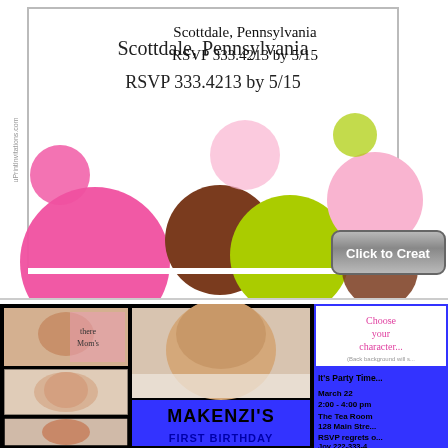[Figure (illustration): Colorful polka dot party invitation card with text: Scottdale, Pennsylvania / RSVP 333.4213 by 5/15. Dots in pink, brown, lime green, and light pink on white background. Watermark: uPrintInvitations.com]
[Figure (other): Gray button partially visible with text 'Click to Creat...' (truncated)]
[Figure (photo): Birthday invitation card with black background. Left column: three small baby photos. Center: large baby portrait photo and blue block with text MAKENZI'S FIRST BIRTHDAY (partially visible). Right panel: blue background with white box saying 'Choose your character...' and party info: It's Party Time, March 22, 2:00 - 4:00 pm, The Tea Room, 128 Main Stre..., RSVP regrets only Joy 222-333-4... or party@...]